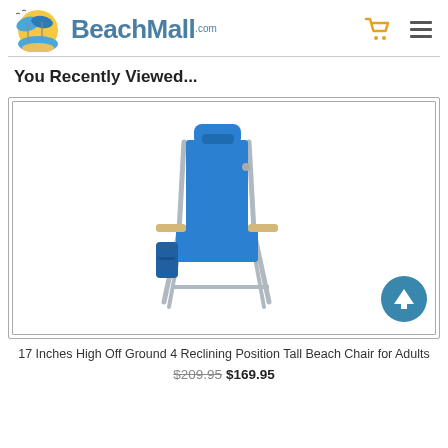BeachMall.com
You Recently Viewed...
[Figure (photo): Blue reclining beach chair with headrest, wooden armrests, side pocket, and silver metal frame on white background]
17 Inches High Off Ground 4 Reclining Position Tall Beach Chair for Adults
$209.95 $169.95